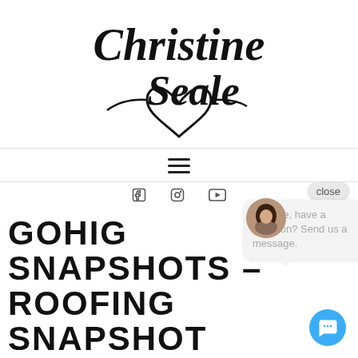[Figure (logo): Christine Seale cursive handwritten logo with a heart shape below]
[Figure (other): Hamburger menu icon (three horizontal lines)]
[Figure (other): Social media icons: Facebook, Instagram, YouTube]
[Figure (screenshot): Chat widget popup with avatar photo and text 'Hi there, have a question? Send us a message.' with a close button and blue chat bubble button]
GOHIGHLEVEL SNAPSHOTS – ROOFING SNAPSHOTS REVIEW